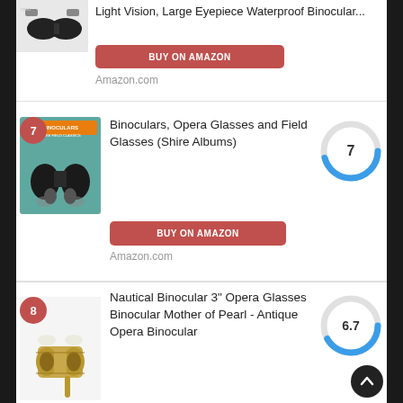[Figure (photo): Partial product image of binoculars at top of page]
Light Vision, Large Eyepiece Waterproof Binocular...
BUY ON AMAZON
Amazon.com
[Figure (photo): Rank badge 7 and product image of Binoculars book cover on teal background (Shire Albums)]
Binoculars, Opera Glasses and Field Glasses (Shire Albums)
[Figure (donut-chart): Score 7]
BUY ON AMAZON
Amazon.com
[Figure (photo): Rank badge 8 and product image of antique gold opera binoculars]
Nautical Binocular 3" Opera Glasses Binocular Mother of Pearl - Antique Opera Binocular
[Figure (donut-chart): Score 6.7]